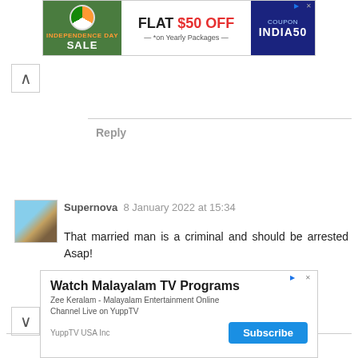[Figure (screenshot): Advertisement banner: Independence Day Sale - FLAT $50 OFF on Yearly Packages, COUPON INDIA50]
Reply
Supernova  8 January 2022 at 15:34
That married man is a criminal and should be arrested Asap!
Reply
[Figure (screenshot): Advertisement: Watch Malayalam TV Programs - Zee Keralam - Malayalam Entertainment Online Channel Live on YuppTV. YuppTV USA Inc. Subscribe button.]